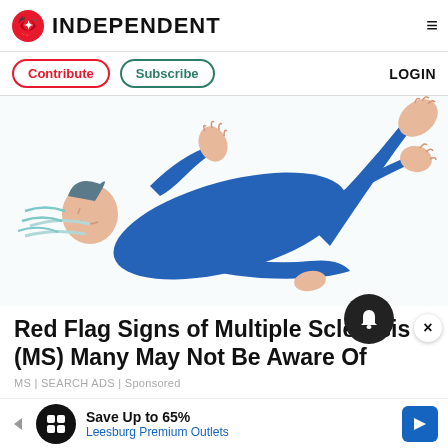INDEPENDENT
Contribute | Subscribe | LOGIN
[Figure (illustration): Illustration of a person in blue clothing lying down with limbs raised, suggesting muscle spasms or neurological symptoms associated with multiple sclerosis]
Red Flag Signs of Multiple Sclerosis (MS) Many May Not Be Aware Of
MS | SEARCH ADS | Sponsored
Save Up to 65% Leesburg Premium Outlets